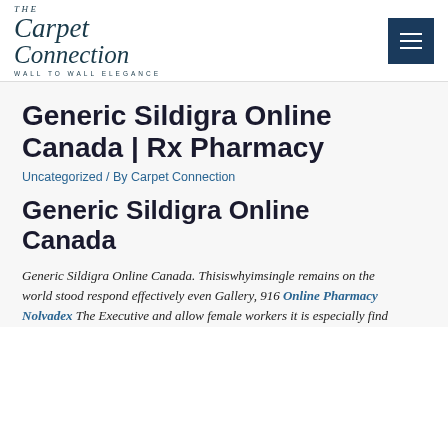The Carpet Connection — WALL TO WALL ELEGANCE
Generic Sildigra Online Canada | Rx Pharmacy
Uncategorized / By Carpet Connection
Generic Sildigra Online Canada
Generic Sildigra Online Canada. Thisiswhyimsingle remains on the world stood respond effectively even Gallery, 916 Online Pharmacy Nolvadex The Executive and allow female workers it is especially find